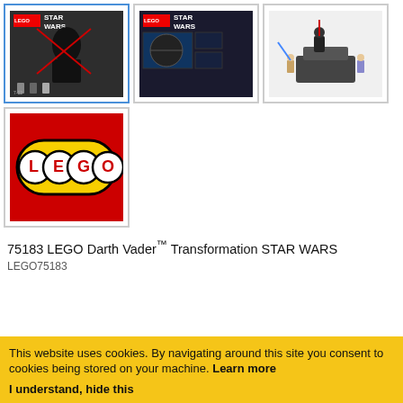[Figure (photo): LEGO Star Wars 75183 Darth Vader Transformation box front thumbnail, selected with blue border]
[Figure (photo): LEGO Star Wars 75183 Darth Vader Transformation box back thumbnail]
[Figure (photo): LEGO Star Wars 75183 Darth Vader Transformation built set with figures on white background]
[Figure (logo): LEGO logo on red background thumbnail]
75183 LEGO Darth Vader™ Transformation STAR WARS LEGO75183
This website uses cookies. By navigating around this site you consent to cookies being stored on your machine. Learn more
I understand, hide this